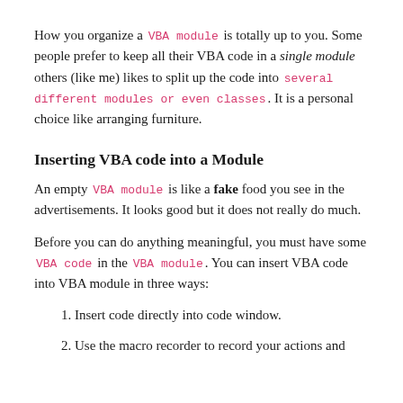How you organize a VBA module is totally up to you. Some people prefer to keep all their VBA code in a single module others (like me) likes to split up the code into several different modules or even classes. It is a personal choice like arranging furniture.
Inserting VBA code into a Module
An empty VBA module is like a fake food you see in the advertisements. It looks good but it does not really do much.
Before you can do anything meaningful, you must have some VBA code in the VBA module. You can insert VBA code into VBA module in three ways:
1. Insert code directly into code window.
2. Use the macro recorder to record your actions and